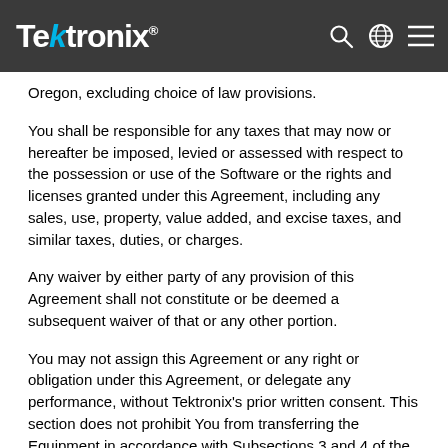Tektronix
Oregon, excluding choice of law provisions.
You shall be responsible for any taxes that may now or hereafter be imposed, levied or assessed with respect to the possession or use of the Software or the rights and licenses granted under this Agreement, including any sales, use, property, value added, and excise taxes, and similar taxes, duties, or charges.
Any waiver by either party of any provision of this Agreement shall not constitute or be deemed a subsequent waiver of that or any other portion.
You may not assign this Agreement or any right or obligation under this Agreement, or delegate any performance, without Tektronix’s prior written consent. This section does not prohibit You from transferring the Equipment in accordance with Subsections 3 and 4 of the Section titled “You may” above.
All questions or notices regarding this Agreement should be